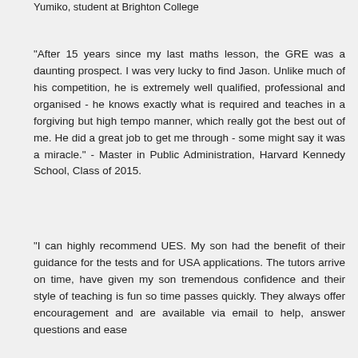Yumiko, student at Brighton College
"After 15 years since my last maths lesson, the GRE was a daunting prospect. I was very lucky to find Jason. Unlike much of his competition, he is extremely well qualified, professional and organised - he knows exactly what is required and teaches in a forgiving but high tempo manner, which really got the best out of me. He did a great job to get me through - some might say it was a miracle." - Master in Public Administration, Harvard Kennedy School, Class of 2015.
"I can highly recommend UES. My son had the benefit of their guidance for the tests and for USA applications. The tutors arrive on time, have given my son tremendous confidence and their style of teaching is fun so time passes quickly. They always offer encouragement and are available via email to help, answer questions and ease anxiety." - Parent of a student, Class of 2015.